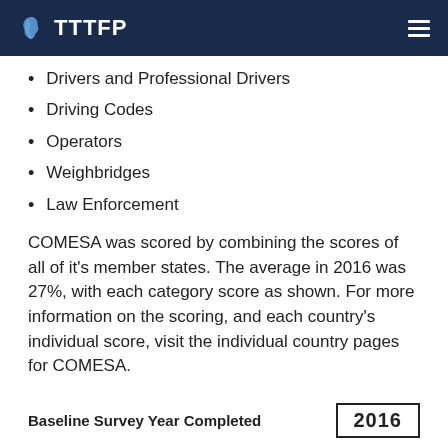TTTFP
Drivers and Professional Drivers
Driving Codes
Operators
Weighbridges
Law Enforcement
COMESA was scored by combining the scores of all of it's member states. The average in 2016 was 27%, with each category score as shown. For more information on the scoring, and each country's individual score, visit the individual country pages for COMESA.
Baseline Survey Year Completed
2016